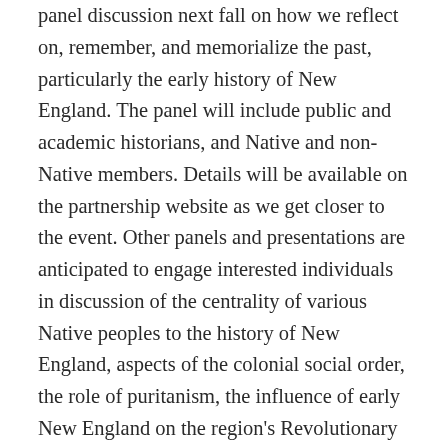panel discussion next fall on how we reflect on, remember, and memorialize the past, particularly the early history of New England. The panel will include public and academic historians, and Native and non-Native members. Details will be available on the partnership website as we get closer to the event. Other panels and presentations are anticipated to engage interested individuals in discussion of the centrality of various Native peoples to the history of New England, aspects of the colonial social order, the role of puritanism, the influence of early New England on the region's Revolutionary leadership, and other topics. It will be important to work with educators to examine how a nuanced understanding of the cultures of the region in the seventeenth century can be incorporated into crowded secondary school curricula.